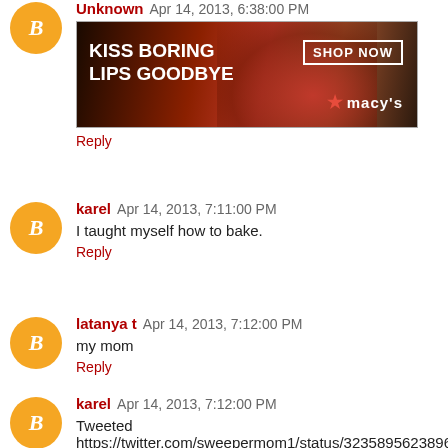Unknown  Apr 14, 2013, 6:38:00 PM
[Figure (photo): Macy's advertisement banner: woman with red lips, text 'KISS BORING LIPS GOODBYE', 'SHOP NOW', 'macy's']
Reply
karel  Apr 14, 2013, 7:11:00 PM
I taught myself how to bake.
Reply
latanya t  Apr 14, 2013, 7:12:00 PM
my mom
Reply
karel  Apr 14, 2013, 7:12:00 PM
Tweeted https://twitter.com/sweepermom1/status/323589562389651456
Reply